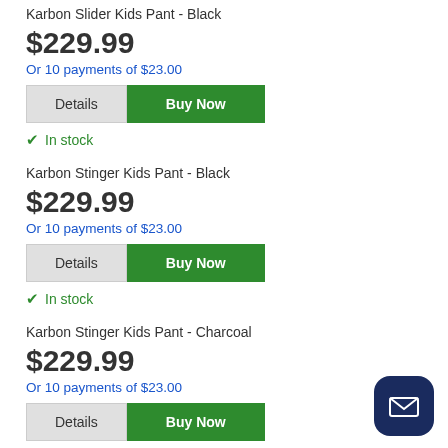Karbon Slider Kids Pant - Black
$229.99
Or 10 payments of $23.00
In stock
Karbon Stinger Kids Pant - Black
$229.99
Or 10 payments of $23.00
In stock
Karbon Stinger Kids Pant - Charcoal
$229.99
Or 10 payments of $23.00
In stock
Karbon Stinger Kids Pant - Lime